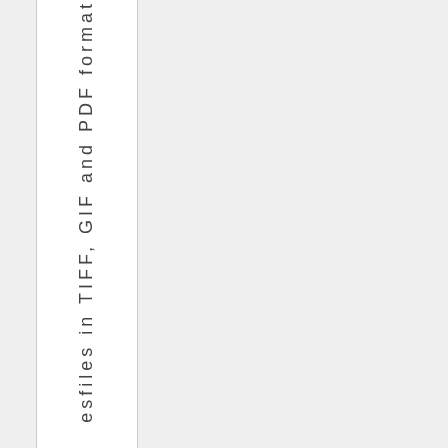esfiles in TIFF, GIF and PDF formats